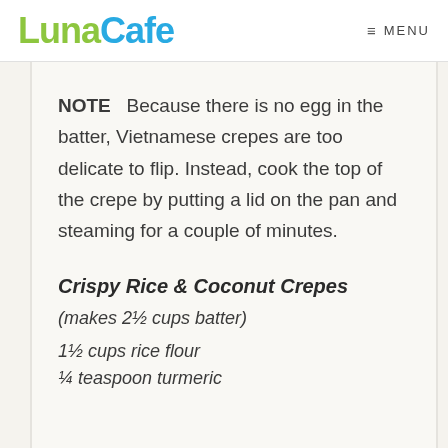LunaCafe  MENU
NOTE  Because there is no egg in the batter, Vietnamese crepes are too delicate to flip. Instead, cook the top of the crepe by putting a lid on the pan and steaming for a couple of minutes.
Crispy Rice & Coconut Crepes
(makes 2½ cups batter)
1½ cups rice flour
¼ teaspoon turmeric